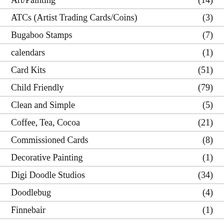Art/Painting (cut off)
ATCs (Artist Trading Cards/Coins) (3)
Bugaboo Stamps (7)
calendars (1)
Card Kits (51)
Child Friendly (79)
Clean and Simple (5)
Coffee, Tea, Cocoa (21)
Commissioned Cards (8)
Decorative Painting (1)
Digi Doodle Studios (34)
Doodlebug (4)
Finnebair (1)